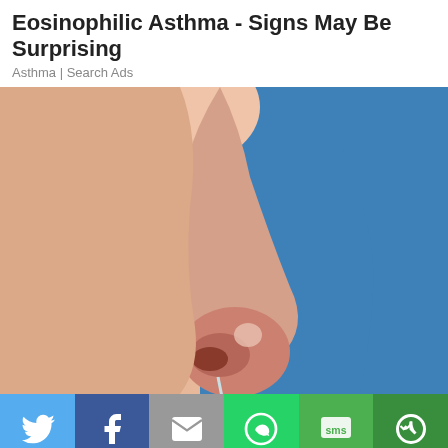Eosinophilic Asthma - Signs May Be Surprising
Asthma | Search Ads
[Figure (photo): Close-up side profile photo of a human nose with a runny nose/nasal drip, against a blue background, illustrating nasal symptoms]
[Figure (infographic): Social media sharing bar with icons: Twitter (light blue), Facebook (dark blue), Email/envelope (gray), WhatsApp (green), SMS (green), Share/rotate (dark green)]